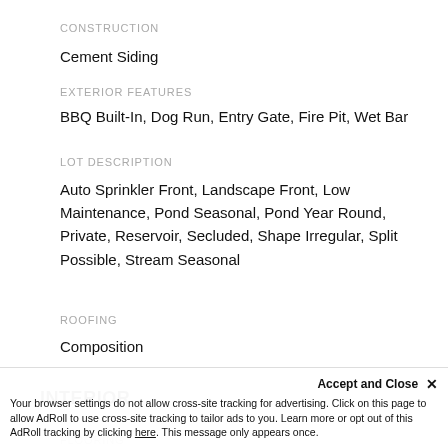CONSTRUCTION
Cement Siding
EXTERIOR FEATURES
BBQ Built-In, Dog Run, Entry Gate, Fire Pit, Wet Bar
LOT DESCRIPTION
Auto Sprinkler Front, Landscape Front, Low Maintenance, Pond Seasonal, Pond Year Round, Private, Reservoir, Secluded, Shape Irregular, Split Possible, Stream Seasonal
ROOFING
Composition
INTERIOR
FLOORING
Accept and Close ✕
Your browser settings do not allow cross-site tracking for advertising. Click on this page to allow AdRoll to use cross-site tracking to tailor ads to you. Learn more or opt out of this AdRoll tracking by clicking here. This message only appears once.